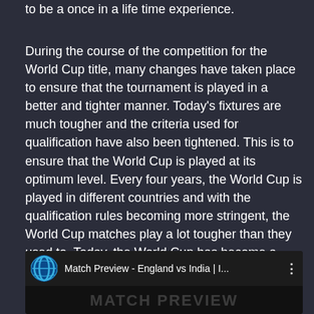to be a once in a life time experience.
During the course of the competition for the World Cup title, many changes have taken place to ensure that the tournament is played in a better and tighter manner. Today's fixtures are much tougher and the criteria used for qualification have also been tightened. This is to ensure that the World Cup is played at its optimum level. Every four years, the World Cup is played in different countries and with the qualification rules becoming more stringent, the World Cup matches play a lot tougher than they used to. Today, the World Cup has become a much sought after event as it marks the beginning of the football season in different countries all over the world.
[Figure (screenshot): Video thumbnail showing ICC cricket match preview - England vs India, with ICC logo, title text 'Match Preview - England vs India | I...' and 'MATCH PREVIEW' text overlaid on dark background]